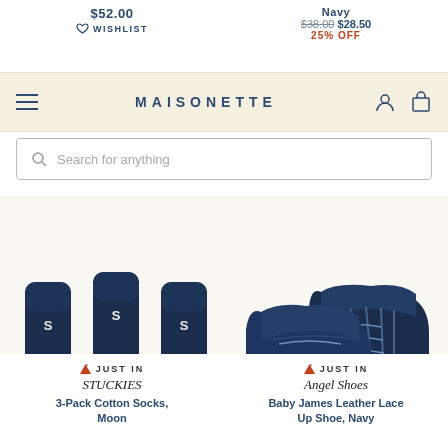$52.00
Navy
$38.00 $28.50  25% OFF
WISHLIST
MAISONETTE
Search for anything
[Figure (photo): Three navy blue anti-slip socks with letter S logo laid flat]
[Figure (photo): Pair of navy blue leather lace-up baby shoes on white background]
🔺 JUST IN
STUCKIES
3-Pack Cotton Socks, Moon
🔺 JUST IN
Angel Shoes
Baby James Leather Lace Up Shoe, Navy